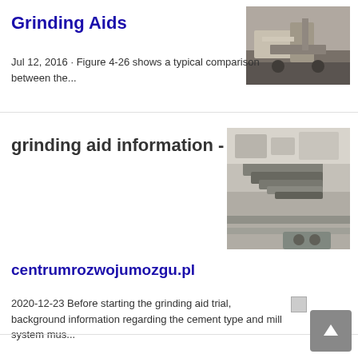Grinding Aids
Jul 12, 2016 · Figure 4-26 shows a typical comparison between the...
[Figure (photo): Black and white photo of mining/crushing equipment machinery]
grinding aid information -
[Figure (photo): Aerial photo of large industrial mining conveyor and crushing equipment]
centrumrozwojumozgu.pl
2020-12-23 Before starting the grinding aid trial, background information regarding the cement type and mill system mus...